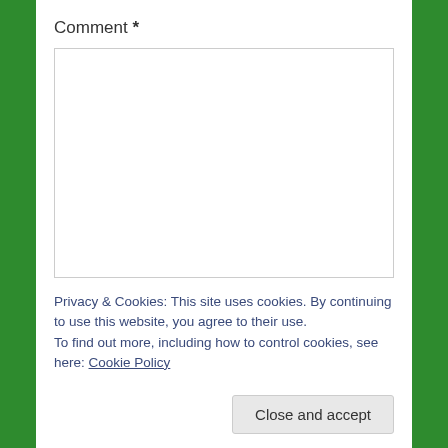Comment *
[Figure (other): Empty comment text area input box with border]
Privacy & Cookies: This site uses cookies. By continuing to use this website, you agree to their use.
To find out more, including how to control cookies, see here: Cookie Policy
Close and accept